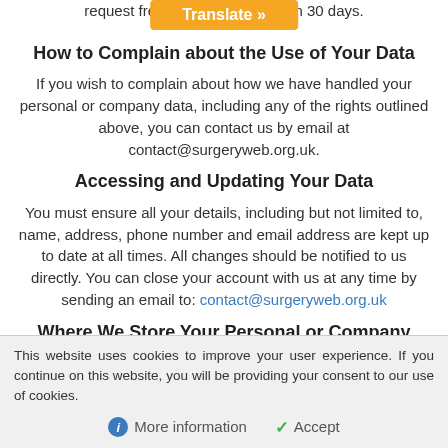request free of ... within 30 days.
How to Complain about the Use of Your Data
If you wish to complain about how we have handled your personal or company data, including any of the rights outlined above, you can contact us by email at contact@surgeryweb.org.uk.
Accessing and Updating Your Data
You must ensure all your details, including but not limited to, name, address, phone number and email address are kept up to date at all times. All changes should be notified to us directly. You can close your account with us at any time by sending an email to: contact@surgeryweb.org.uk
Where We Store Your Personal or Company Data
All information you provide to us is stored on our secured,
This website uses cookies to improve your user experience. If you continue on this website, you will be providing your consent to our use of cookies.
More information   Accept